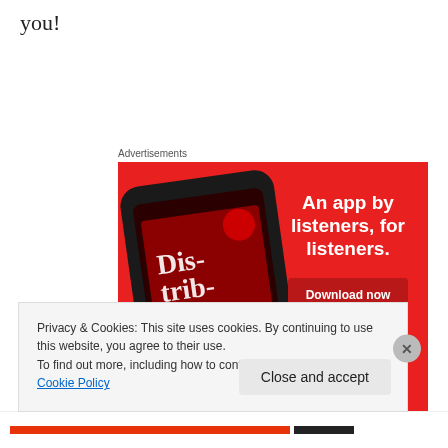you!
Advertisements
[Figure (illustration): Advertisement banner with red background showing a smartphone displaying a podcast app with text 'Distributed' and tagline 'An app by listeners, for listeners.' with a 'Download now' button]
Privacy & Cookies: This site uses cookies. By continuing to use this website, you agree to their use.
To find out more, including how to control cookies, see here: Cookie Policy